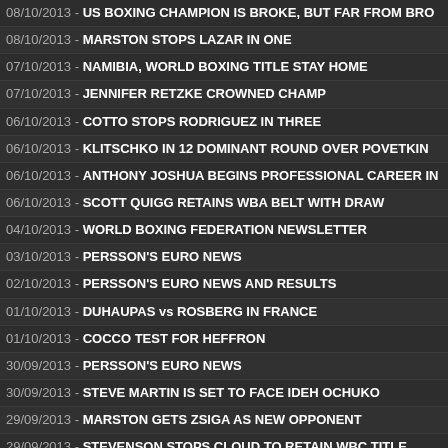08/10/2013 - US BOXING CHAMPION IS BROKE, BUT FAR FROM BRO...
08/10/2013 - MARSTON STOPS LAZAR IN ONE
07/10/2013 - NAMIBIA, WORLD BOXING TITLE STAY HOME
07/10/2013 - JENNIFER RETZKE CROWNED CHAMP
06/10/2013 - COTTO STOPS RODRIGUEZ IN THREE
06/10/2013 - KLITSCHKO IN 12 DOMINANT ROUND OVER POVETKIN
06/10/2013 - ANTHONY JOSHUA BEGINS PROFESSIONAL CAREER IN...
06/10/2013 - SCOTT QUIGG RETAINS WBA BELT WITH DRAW
04/10/2013 - WORLD BOXING FEDERATION NEWSLETTER
03/10/2013 - PERSSON'S EURO NEWS
02/10/2013 - PERSSON'S EURO NEWS AND RESULTS
01/10/2013 - DUHAUPAS vs ROSBERG IN FRANCE
01/10/2013 - COCCO TEST FOR HEFFRON
30/09/2013 - PERSSON'S EURO NEWS
30/09/2013 - STEVE MARTIN IS SET TO FACE IDEH OCHUKO
29/09/2013 - MARSTON GETS ZSIGA AS NEW OPPONENT
29/09/2013 - STEVENSON STOPS CLOUD TO RETAIN WBC TITLE
29/09/2013 - JULIO CESAR CHAVEZ JR BEATS BRIAN VERA
27/09/2013 - DRAMA FOR MARSTON, BACANOV OUT OF OCT 4TH SH...
27/09/2013 - TEEN SENSATION SHIYA OZGUL READY FOR HIS DEBUT...
26/09/2013 - GARY HOLMGREN INDUCTED INTO MINNESOTA BOXING...
26/09/2013 - WBO 26TH CONGRESS, BUDAPEST 2013
26/09/2013 - MASA BACANOV, I'M COMING TO LONDON TO WIN
25/09/2013 - UP CLOSE AND PERSONAL WITH IAIN WEAVER
24/09/2013 - ANGEL McKENZIE READY FOR RETZKE TEST
23/09/2013 - PERSSON'S EURO NEWS AND RESULTS
23/09/2013 - STEVE MARTIN ARRIVES IN LONDON